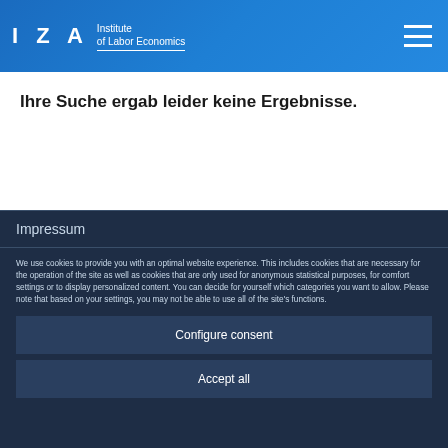[Figure (logo): IZA Institute of Labor Economics logo with white text on blue gradient background and hamburger menu icon]
Ihre Suche ergab leider keine Ergebnisse.
Impressum
We use cookies to provide you with an optimal website experience. This includes cookies that are necessary for the operation of the site as well as cookies that are only used for anonymous statistical purposes, for comfort settings or to display personalized content. You can decide for yourself which categories you want to allow. Please note that based on your settings, you may not be able to use all of the site's functions.
Configure consent
Accept all